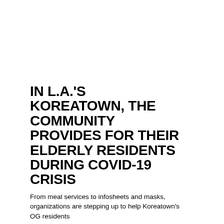IN L.A.'S KOREATOWN, THE COMMUNITY PROVIDES FOR THEIR ELDERLY RESIDENTS DURING COVID-19 CRISIS
From meal services to infosheets and masks, organizations are stepping up to help Koreatown's OG residents
Lisa Kwon
April 30, 2020